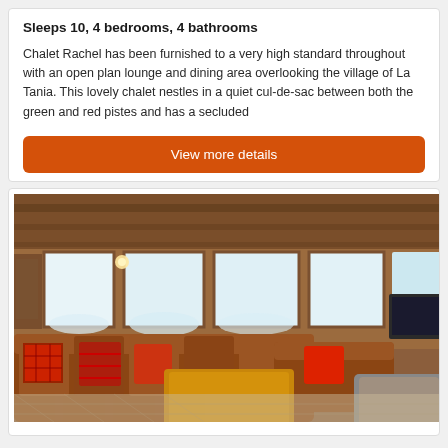Sleeps 10, 4 bedrooms, 4 bathrooms
Chalet Rachel has been furnished to a very high standard throughout with an open plan lounge and dining area overlooking the village of La Tania. This lovely chalet nestles in a quiet cul-de-sac between both the green and red pistes and has a secluded
View more details
[Figure (photo): Interior of Chalet Rachel showing a large leather sectional sofa with red and plaid cushions, wooden coffee table, tiled floor, large windows with snow outside, and warm wooden walls and ceiling beams.]